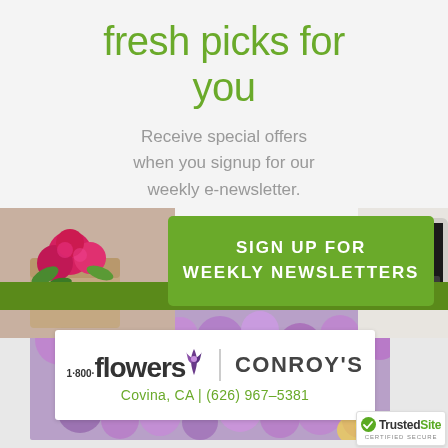fresh picks for you
Receive special offers when you signup for our weekly e-newsletter.
[Figure (photo): Photo of pink roses and flowers in a brown paper bag/envelope on the left side]
SIGN UP FOR WEEKLY NEWSLETTERS
[Figure (photo): Partial view of a laptop keyboard in the top right corner]
[Figure (photo): Background of purple and yellow flowers behind the logo card]
[Figure (logo): 1-800-flowers CONROY'S logo with tulip icon]
Covina, CA | (626) 967-5381
[Figure (logo): TrustedSite CERTIFIED SECURE badge with green checkmark]